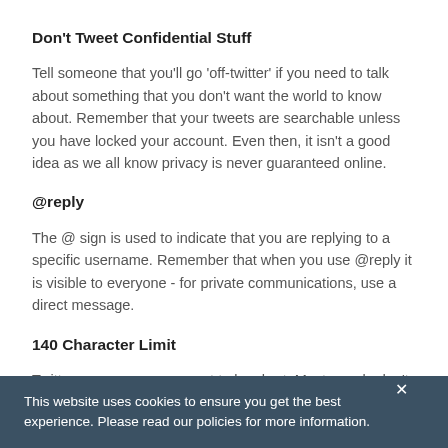Don’t Tweet Confidential Stuff
Tell someone that you’ll go ‘off-twitter’ if you need to talk about something that you don’t want the world to know about. Remember that your tweets are searchable unless you have locked your account. Even then, it isn't a good idea as we all know privacy is never guaranteed online.
@reply
The @ sign is used to indicate that you are replying to a specific username. Remember that when you use @reply it is visible to everyone - for private communications, use a direct message.
140 Character Limit
Twitter messages are meant to be short. Most people don’t
This website uses cookies to ensure you get the best experience. Please read our policies for more information.